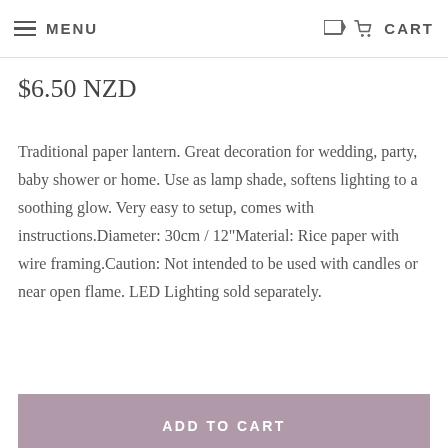MENU   CART
$6.50 NZD
Traditional paper lantern. Great decoration for wedding, party, baby shower or home. Use as lamp shade, softens lighting to a soothing glow. Very easy to setup, comes with instructions.Diameter: 30cm / 12"Material: Rice paper with wire framing.Caution: Not intended to be used with candles or near open flame. LED Lighting sold separately.
ADD TO CART
Share: